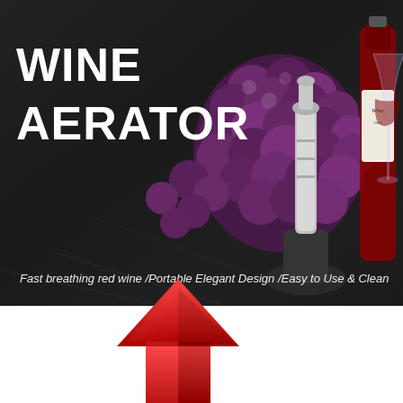[Figure (photo): Product advertisement image for a Wine Aerator. Dark marble background with red/purple grapes, a wine aerator device on a stand, a wine bottle and wine glass visible on the right. Bold white text reads 'WINE AERATOR' on the left. White italic text at the bottom reads 'Fast breathing red wine /Portable Elegant Design /Easy to Use & Clean'. Below the photo, a large red upward-pointing arrow graphic is overlaid on the white lower portion of the page.]